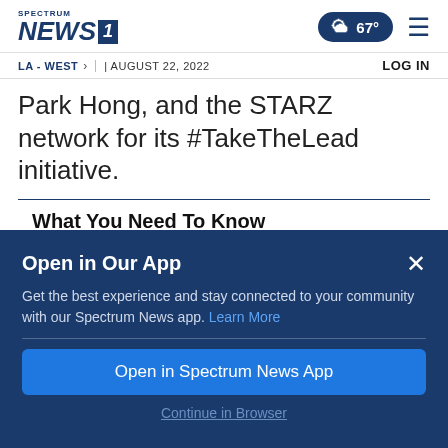SPECTRUM NEWS 1 | LA - WEST | AUGUST 22, 2022 | LOG IN | 67°
Park Hong, and the STARZ network for its #TakeTheLead initiative.
What You Need To Know
Dr. Fauci will be among those honored at the annual Bill of Rights Award of the ACLU Foundation of South...
Open in Our App
Get the best experience and stay connected to your community with our Spectrum News app. Learn More
Open in Spectrum News App
Continue in Browser